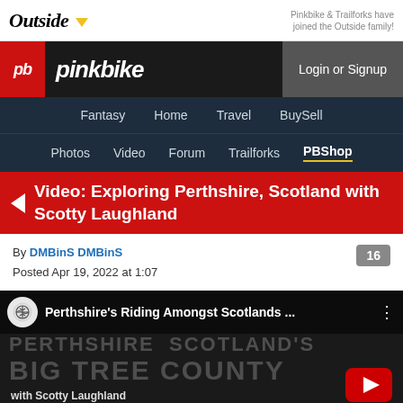Outside — Pinkbike & Trailforks have joined the Outside family!
[Figure (screenshot): Pinkbike website header with logo and Login or Signup button]
Fantasy  Home  Travel  BuySell  Photos  Video  Forum  Trailforks  PBShop
Video: Exploring Perthshire, Scotland with Scotty Laughland
By DMBinS DMBinS
Posted Apr 19, 2022 at 1:07
[Figure (screenshot): YouTube video thumbnail for 'Perthshire's Riding Amongst Scotlands...' featuring background text PERTHSHIRE SCOTLAND'S BIG TREE COUNTY with Scotty Laughland and a play button]